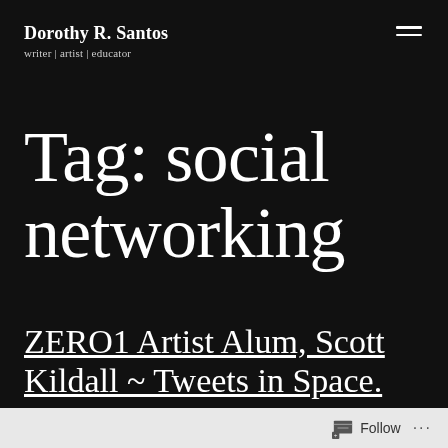Dorothy R. Santos
writer | artist | educator
Tag: social networking
ZERO1 Artist Alum, Scott Kildall ~ Tweets in Space.
Follow